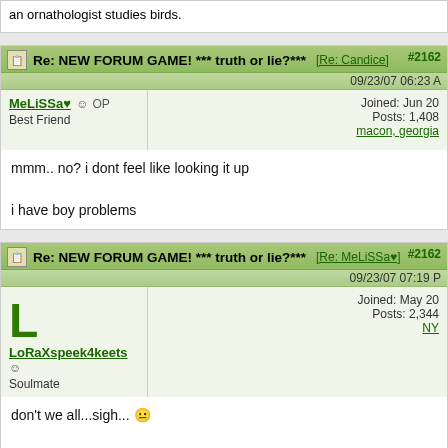an ornathologist studies birds.
Re: NEW FORUM GAME! *** truth or lie?*** [Re: Candice] #2162 09/23/07 06:23 A
MeLiSSa♥ ☺ OP
Best Friend
Joined: Jun 20
Posts: 1,408
macon, georgia
mmm.. no? i dont feel like looking it up

i have boy problems
Re: NEW FORUM GAME! *** truth or lie?*** [Re: MeLiSSa♥] #2162 09/23/07 07:19 P
LoRaXspeek4keets ☺
Soulmate
Joined: May 20
Posts: 2,344
NY
don't we all...sigh... 😐

i love blueberry muffins drowned in butter for breakfast...mmm...(why am i